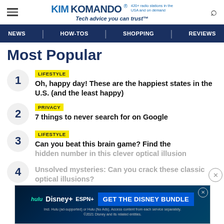KIMKOMANDO® 420+ radio stations in the USA and on demand Tech advice you can trust™
NEWS | HOW-TOS | SHOPPING | REVIEWS
Most Popular
LIFESTYLE — Oh, happy day! These are the happiest states in the U.S. (and the least happy)
PRIVACY — 7 things to never search for on Google
LIFESTYLE — Can you beat this brain game? Find the hidden number in this clever optical illusion
LIFESTYLE — Unsolved mysteries: Can you crack these classic optical illusions?
[Figure (screenshot): Disney Bundle advertisement banner with Hulu, Disney+, ESPN+ logos and GET THE DISNEY BUNDLE CTA button]